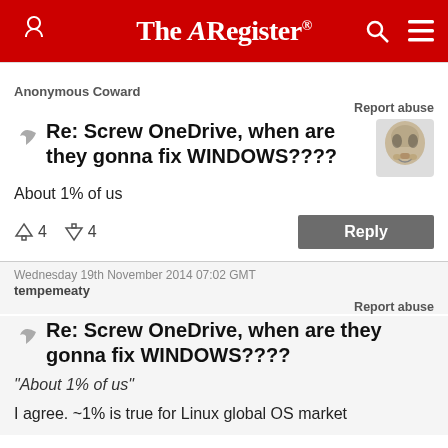The Register
Anonymous Coward
Report abuse
Re: Screw OneDrive, when are they gonna fix WINDOWS????
About 1% of us
↑4  ↓4  Reply
Wednesday 19th November 2014 07:02 GMT
tempemeaty
Report abuse
Re: Screw OneDrive, when are they gonna fix WINDOWS????
"About 1% of us"
I agree. ~1% is true for Linux global OS market